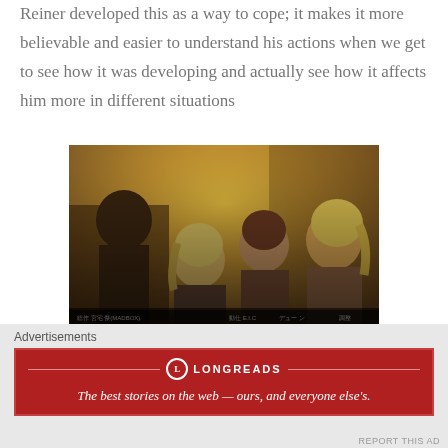Reiner developed this as a way to cope; it makes it more believable and easier to understand his actions when we get to see how it was developing and actually see how it affects him more in different situations
[Figure (illustration): Anime screenshot showing four characters in profile view with warm golden lighting, subtitle text visible at the bottom]
My poor babies have been through
Advertisements
[Figure (other): Longreads advertisement banner: red background with logo and text 'The best stories on the web — ours, and everyone else's.']